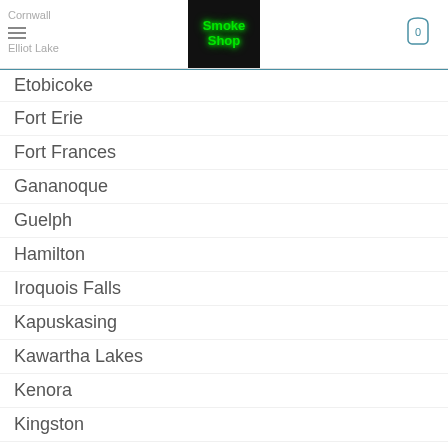Cornwall | Elliot Lake | Smoke Shop | Cart 0
Etobicoke
Fort Erie
Fort Frances
Gananoque
Guelph
Hamilton
Iroquois Falls
Kapuskasing
Kawartha Lakes
Kenora
Kingston
Kirkland Lake
Kitchener
Laurentian Hills
London